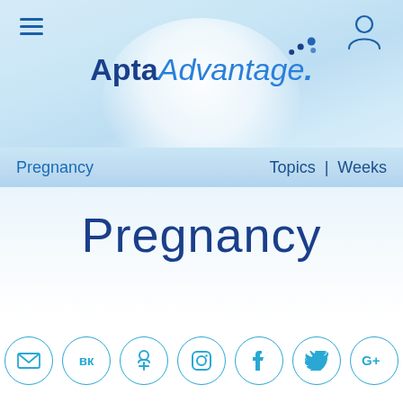[Figure (logo): AptaAdvantage logo with blue dots above, dark blue 'Apta' and blue italic 'Advantage.' text]
Hamburger menu icon (top left) and user account icon (top right)
Pregnancy    Topics | Weeks
Pregnancy
[Figure (infographic): Row of 7 social media icon circles: email, VK, Odnoklassniki, Instagram, Facebook, Twitter, Google+]